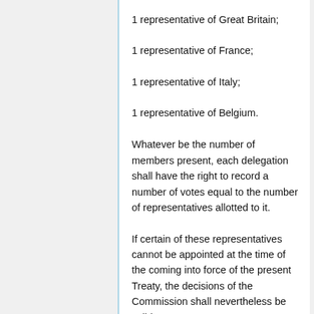1 representative of Great Britain;
1 representative of France;
1 representative of Italy;
1 representative of Belgium.
Whatever be the number of members present, each delegation shall have the right to record a number of votes equal to the number of representatives allotted to it.
If certain of these representatives cannot be appointed at the time of the coming into force of the present Treaty, the decisions of the Commission shall nevertheless be valid.